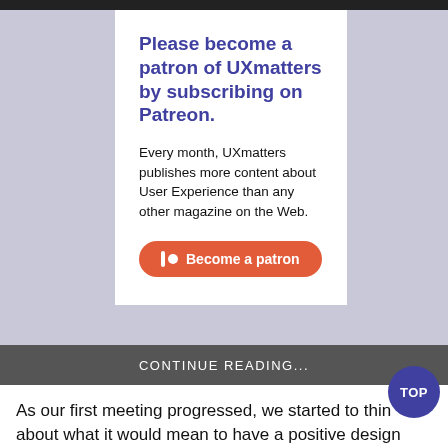Please become a patron of UXmatters by subscribing on Patreon.
Every month, UXmatters publishes more content about User Experience than any other magazine on the Web.
[Figure (other): Become a patron button — orange pill-shaped button with Patreon icon and text 'Become a patron']
CONTINUE READING...
As our first meeting progressed, we started to think about what it would mean to have a positive design